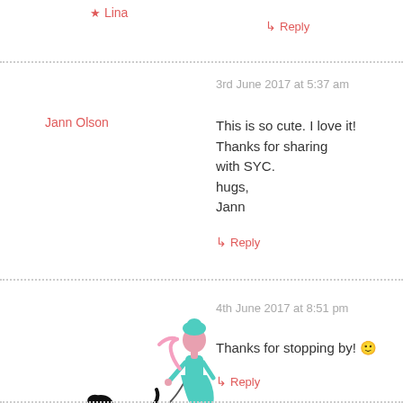★ Lina
↳ Reply
3rd June 2017 at 5:37 am
This is so cute. I love it! Thanks for sharing with SYC.
hugs,
Jann
Jann Olson
↳ Reply
[Figure (illustration): Illustration of a woman in a teal dress with pink scarf walking a black dog on a leash]
★ Lina
4th June 2017 at 8:51 pm
Thanks for stopping by! 🙂
↳ Reply